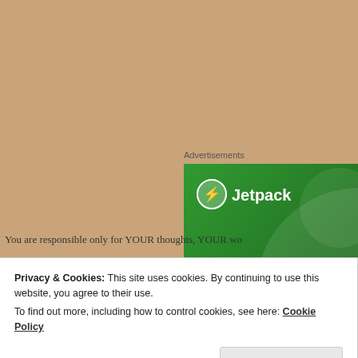Advertisements
[Figure (screenshot): Jetpack advertisement banner with green background showing logo and text: The best real-time WordPress backup plugin]
You are responsible only for YOUR thoughts, YOUR wo
Privacy & Cookies: This site uses cookies. By continuing to use this website, you agree to their use.
To find out more, including how to control cookies, see here: Cookie Policy
Close and accept